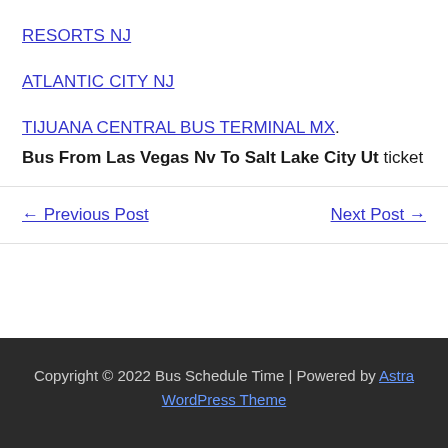RESORTS NJ
ATLANTIC CITY NJ
TIJUANA CENTRAL BUS TERMINAL MX.
Bus From Las Vegas Nv To Salt Lake City Ut ticket
← Previous Post
Next Post →
Copyright © 2022 Bus Schedule Time | Powered by Astra WordPress Theme